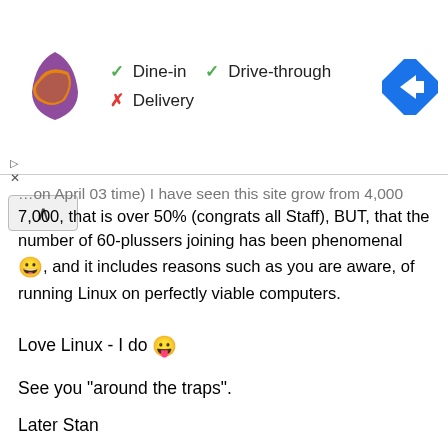[Figure (screenshot): Taco Bell advertisement banner showing logo with Dine-in (checkmark), Drive-through (checkmark), Delivery (X), and a Google Maps direction icon on the right.]
…on April 03 time) I have seen this site grow from 4,000 7,000, that is over 50% (congrats all Staff), BUT, that the number of 60-plussers joining has been phenomenal 😀, and it includes reasons such as you are aware, of running Linux on perfectly viable computers.
Love Linux - I do 😛
See you "around the traps".
Later Stan
Cheers
Wizard
Edited ("word" in edgeways, silly Wizard, "foot" in mouth, more